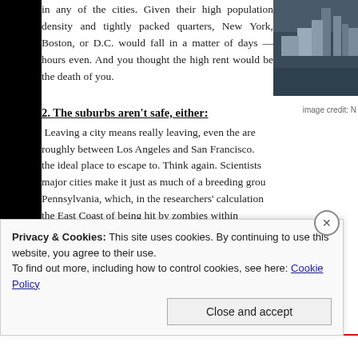in any of the cities. Given their high population density and tightly packed quarters, New York, Boston, or D.C. would fall in a matter of days — hours even. And you thought the high rent would be the death of you.
[Figure (photo): Aerial photograph of a dense city skyline with tall buildings and waterfront, dark toned.]
image credit: N
2. The suburbs aren't safe, either:
Leaving a city means really leaving, even the area roughly between Los Angeles and San Francisco. the ideal place to escape to. Think again. Scientists major cities make it just as much of a breeding grou Pennsylvania, which, in the researchers' calculation the East Coast of being hit by zombies within
Privacy & Cookies: This site uses cookies. By continuing to use this website, you agree to their use.
To find out more, including how to control cookies, see here: Cookie Policy
Close and accept